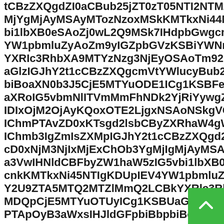tCBzZXQgdZI0aCBub25jZT0zT05NTI2NTM2M2Is
MjYgMjAyMSAyMTozNzoxMSkKMTkxNi44MTUgKD
bi1lbXB0eSAoZj0wL2Q9MSk7IHdpbGwgcmV0YWlu
YW1pbmluZyAoZm9yIGZpbGVzKSBiYWNrdXAgc2V0
YXRIc3RhbXA9MTYzNzg3NjEyOSAoTm92IDI1IDIwM
aGlzIGJhY2t1cCBzZXQgcmVtYWlucyBub24tZW1wd
biBoaXN0b3J5CjE5MTYuODE1ICg1KSBFeGFtaW5pb
aXRoIG5vbmNlITVmMmFhNDk2YjRiYywgZGF0ZZXh
IDIxOjM2OjAyKQoxOTE2LjgxNSAoNSkgVGhpcyBiY
IChmPTAvZD0xKTsgd2lsbCByZXRhaW4gW4gaW4gaGlzd
IChmb3IgZmIsZXMpIGJhY2t1cCBzZXQgd2l0aCBub25
cD0xNjM3NjIxMjExChOb3YgMjIgMjAyMSAyMjo0N
a3VwIHNldCBFbyZW1haW5zIG5vbi1lbXB0eSAoZj0xL2
cnkKMTkxNi45NTIgKDUpIEV4YW1pbmluZyAoZm9y
Y2U9ZTA5MTQ2MTZlMmQ2LCBkYXRlc3RhbXA9MT
MDQpCjE5MTYuOTUyICg1KSBUaGlzIGJhY2t1cCBz
PTApOyB3aWxsIHJldGFpbiBbpbiBoaXN0b3J5CjE5MT